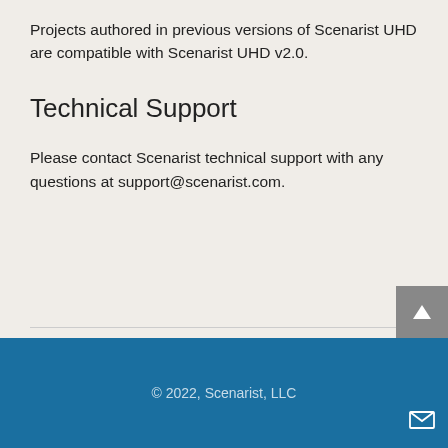Projects authored in previous versions of Scenarist UHD are compatible with Scenarist UHD v2.0.
Technical Support
Please contact Scenarist technical support with any questions at support@scenarist.com.
© 2022, Scenarist, LLC